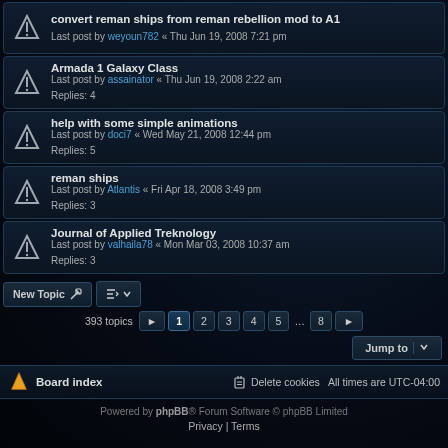convert reman ships from reman rebellion mod to A1
Last post by weyoun782 « Thu Jun 19, 2008 7:21 pm
Armada 1 Galaxy Class
Last post by assainator « Thu Jun 19, 2008 2:22 am
Replies: 4
help with some simple animations
Last post by doci7 « Wed May 21, 2008 12:44 pm
Replies: 5
reman ships
Last post by Atlantis « Fri Apr 18, 2008 3:49 pm
Replies: 3
Journal of Applied Treknology
Last post by valhaila78 « Mon Mar 03, 2008 10:37 am
Replies: 3
New Topic | Sort | 393 topics | 1 2 3 4 5 ... 8 > | Jump to
Board index | Delete cookies | All times are UTC-04:00
Powered by phpBB® Forum Software © phpBB Limited
Privacy | Terms